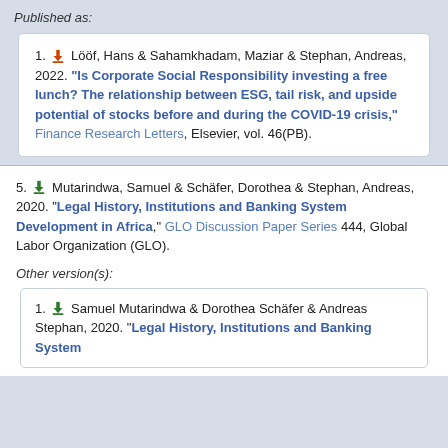Published as:
1. Lööf, Hans & Sahamkhadam, Maziar & Stephan, Andreas, 2022. "Is Corporate Social Responsibility investing a free lunch? The relationship between ESG, tail risk, and upside potential of stocks before and during the COVID-19 crisis," Finance Research Letters, Elsevier, vol. 46(PB).
5. Mutarindwa, Samuel & Schäfer, Dorothea & Stephan, Andreas, 2020. "Legal History, Institutions and Banking System Development in Africa," GLO Discussion Paper Series 444, Global Labor Organization (GLO).
Other version(s):
1. Samuel Mutarindwa & Dorothea Schäfer & Andreas Stephan, 2020. "Legal History, Institutions and Banking System Development in Africa,"